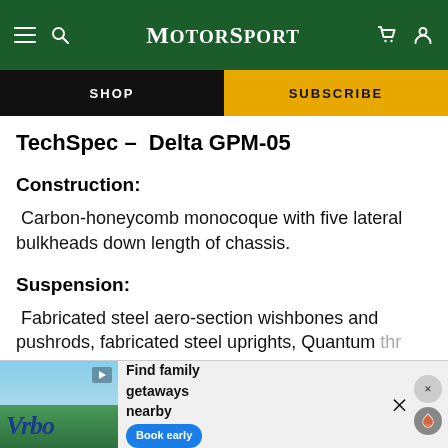MotorSport
SHOP
SUBSCRIBE
TechSpec — Delta GPM-05
Construction:
Carbon-honeycomb monocoque with five lateral bulkheads down length of chassis.
Suspension:
Fabricated steel aero-section wishbones and pushrods, fabricated steel uprights, Quantum thr... ro...
[Figure (screenshot): Vrbo advertisement banner with 'Find family getaways nearby' text and 'Book early' button]